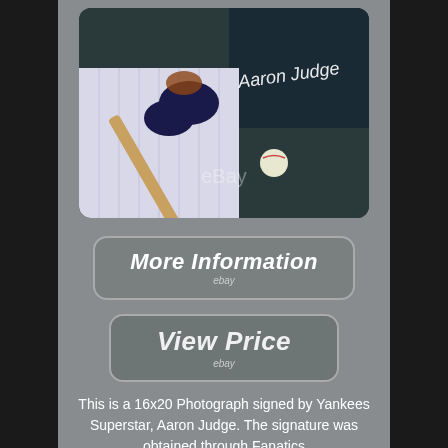[Figure (photo): Signed 16x20 photograph of Aaron Judge batting in New York Yankees pinstripe uniform, showing bat swing with baseball in frame, autograph visible in upper portion of photo, eBay watermark on image]
[Figure (screenshot): Button/link labeled 'More Information' with eBay branding below]
[Figure (screenshot): Button/link labeled 'View Price' with eBay branding below]
This is a 16x20 Photograph signed by Yankees Superstar, Aaron Judge. The signature was obtained through Fanatics